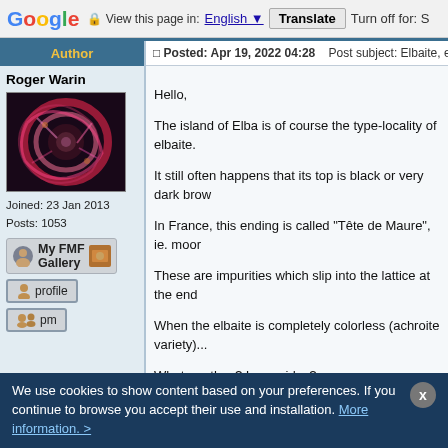Google  View this page in: English [▼]  Translate  Turn off for: S
Author
Roger Warin
[Figure (photo): Avatar image showing colorful mineral/nebula photograph with red and pink swirling patterns on dark background]
Joined: 23 Jan 2013
Posts: 1053
[Figure (other): My FMF Gallery button with user icon and mineral icon]
[Figure (other): profile button]
[Figure (other): pm button]
Posted: Apr 19, 2022 04:28   Post subject: Elbaite, ending moor's head
Hello,
The island of Elba is of course the type-locality of elbaite.
It still often happens that its top is black or very dark brown.
In France, this ending is called "Tête de Maure", ie. moor's head.
These are impurities which slip into the lattice at the end of growth.
When the elbaite is completely colorless (achroite variety)...
What are they? Iron oxides?
|  | El... |
| --- | --- |
| Mineral: | Elbaite |
| Locality: | Elba Island, Livorno Province, Tuscany, |
| Description: | with black ending |
| Viewed: | 1681 Time(s) |
We use cookies to show content based on your preferences. If you continue to browse you accept their use and installation. More information. >